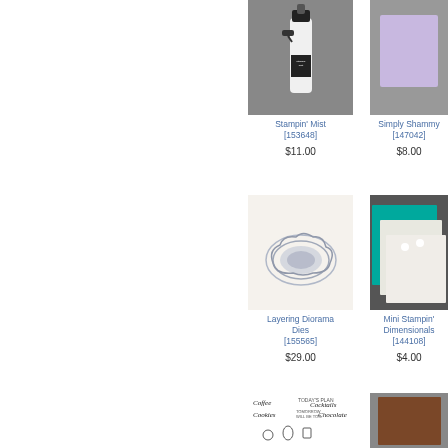[Figure (photo): Stampin' Mist spray bottle product photo on gray background]
Stampin' Mist
[153648]
$11.00
[Figure (photo): Simply Shammy lavender purple card product photo on gray background]
Simply Shammy
[147042]
$8.00
[Figure (photo): Layering Diorama Dies cloud-shaped die cut product photo on cream background]
Layering Diorama Dies
[155565]
$29.00
[Figure (photo): Mini Stampin' Dimensionals white foam dots on teal and white cards product photo]
Mini Stampin' Dimensionals
[144108]
$4.00
[Figure (photo): Coffee Cocktails stamp set product photo showing stamp images]
[Figure (photo): Brown cardstock or paper product photo on gray background]